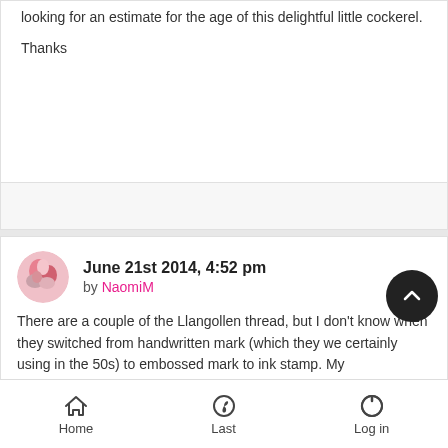looking for an estimate for the age of this delightful little cockerel.
Thanks
June 21st 2014, 4:52 pm
by NaomiM
There are a couple of the Llangollen thread, but I don't know when they switched from handwritten mark (which they we certainly using in the 50s) to embossed mark to ink stamp. My
Home   Last   Log in